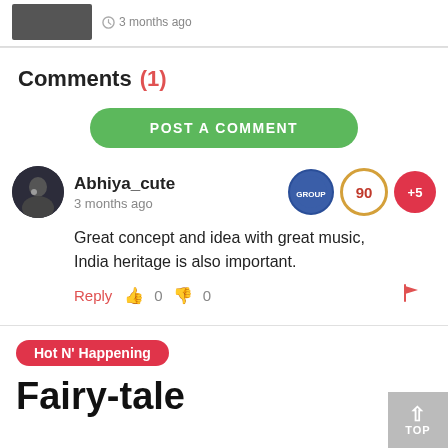[Figure (photo): Top strip with partial image of person and timestamp '3 months ago']
Comments (1)
POST A COMMENT
Abhiya_cute
3 months ago
Great concept and idea with great music, India heritage is also important.
Reply 0 0
Hot N' Happening
Fairy-tale